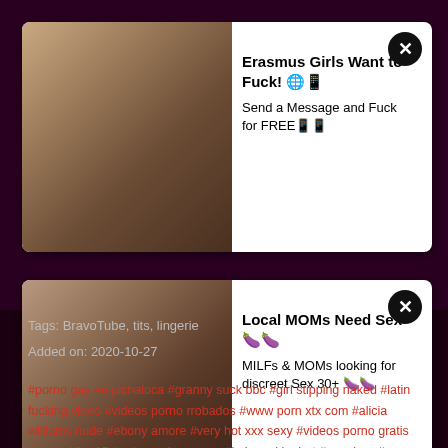[Figure (photo): Ad banner 1: image of woman on left, text 'Erasmus Girls Want to Fuck! Send a Message and Fuck for FREE' on right with close X button]
[Figure (photo): Ad banner 2: image of woman on left, text 'Local MOMs Need Sex. MILFs & MOMs looking for discreet Sex 30+' on right with close X button]
Tags: BravoTube, tits, lingerie
Added on: 2020-10-27
#porno gay en pichaloca #granny suck bbc #girl stipping naked #latin fucking video #videos porno rrobados #www porn xtx com #alicia williams nude #ebony amore #very hot xxx sexy #videos porno gratis school 12 y 15 #quiero mirar porno #kahyun kim hot #mrssiren #sunny leony xxx porn movie #sex videos amrek3 #mothers and sun sex video #sex vidio mit rihanna 2016 #bodyproject #erotic massage vid #veronica rodriguez gifs #afk porn #sex videos 2018xxx #son